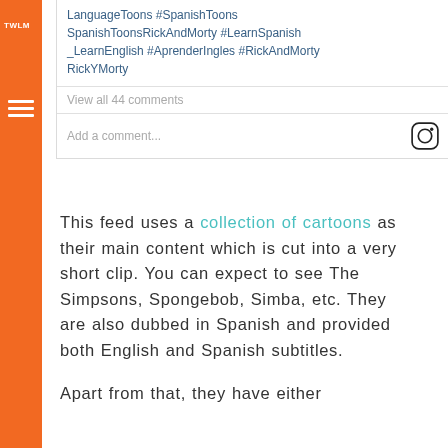[Figure (screenshot): Instagram post card showing hashtags: LanguageToons #SpanishToons SpanishToonsRickAndMorty #LearnSpanish _LearnEnglish #AprenderIngles #RickAndMorty RickYMorty, with 'View all 44 comments' and 'Add a comment...' field with Instagram icon]
This feed uses a collection of cartoons as their main content which is cut into a very short clip. You can expect to see The Simpsons, Spongebob, Simba, etc. They are also dubbed in Spanish and provided both English and Spanish subtitles.
Apart from that, they have either Mexican Spanish or You can...